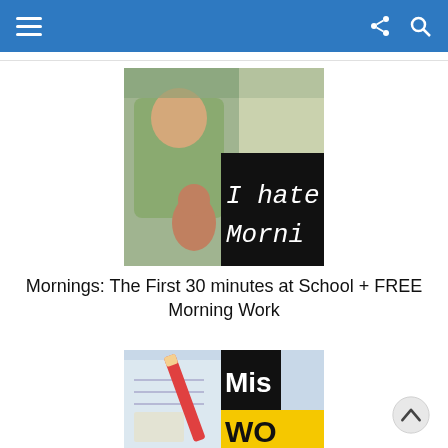Navigation bar with hamburger menu, share icon, and search icon
[Figure (photo): Blog post thumbnail showing a child with toys in a classroom, overlaid with a black box reading 'I hate Morni' (truncated text 'I hate Mornings')]
Mornings: The First 30 minutes at School + FREE Morning Work
[Figure (photo): Second blog post thumbnail showing a pencil on paper with a black/yellow overlay reading 'Mis' and 'WO' (truncated)]